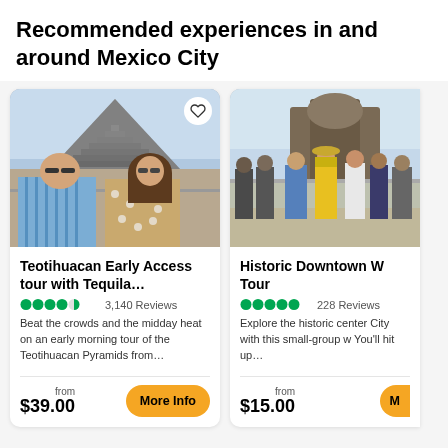Recommended experiences in and around Mexico City
[Figure (photo): Couple standing in front of the Teotihuacan Pyramids, man in blue striped shirt and woman in floral dress]
Teotihuacan Early Access tour with Tequila…
3,140 Reviews
Beat the crowds and the midday heat on an early morning tour of the Teotihuacan Pyramids from…
from $39.00
[Figure (photo): Group of tourists standing on a rooftop or terrace overlooking Mexico City's historic downtown, one person in yellow jacket]
Historic Downtown W Tour
228 Reviews
Explore the historic center City with this small-group w You'll hit up…
from $15.00